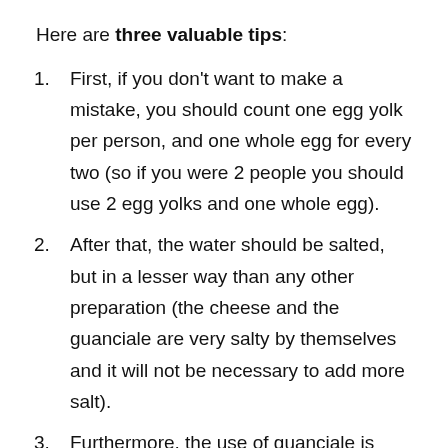Here are three valuable tips:
First, if you don't want to make a mistake, you should count one egg yolk per person, and one whole egg for every two (so if you were 2 people you should use 2 egg yolks and one whole egg).
After that, the water should be salted, but in a lesser way than any other preparation (the cheese and the guanciale are very salty by themselves and it will not be necessary to add more salt).
Furthermore, the use of guanciale is fundamental: for a long time the question of using bacon in carbonara has been debated, but no dear friends, just like cream, this